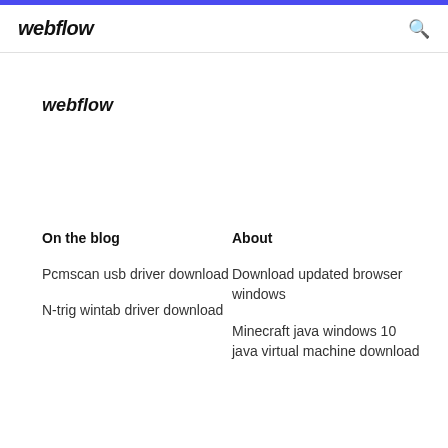webflow
webflow
On the blog
About
Pcmscan usb driver download
Download updated browser windows
N-trig wintab driver download
Minecraft java windows 10 java virtual machine download